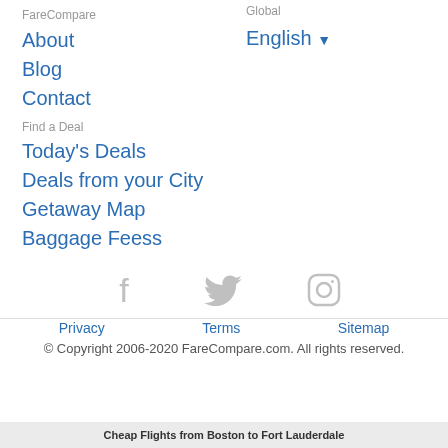FareCompare
Global
About
English ▼
Blog
Contact
Find a Deal
Today's Deals
Deals from your City
Getaway Map
Baggage Feess
[Figure (illustration): Social media icons: Facebook, Twitter, Instagram (all in light gray)]
Privacy
Terms
Sitemap
© Copyright 2006-2020 FareCompare.com. All rights reserved.
Cheap Flights from Boston to Fort Lauderdale